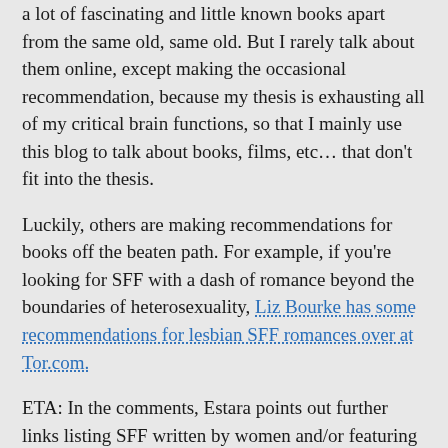a lot of fascinating and little known books apart from the same old, same old. But I rarely talk about them online, except making the occasional recommendation, because my thesis is exhausting all of my critical brain functions, so that I mainly use this blog to talk about books, films, etc... that don't fit into the thesis.
Luckily, others are making recommendations for books off the beaten path. For example, if you're looking for SFF with a dash of romance beyond the boundaries of heterosexuality, Liz Bourke has some recommendations for lesbian SFF romances over at Tor.com.
ETA: In the comments, Estara points out further links listing SFF written by women and/or featuring characters of colour and non-European settings